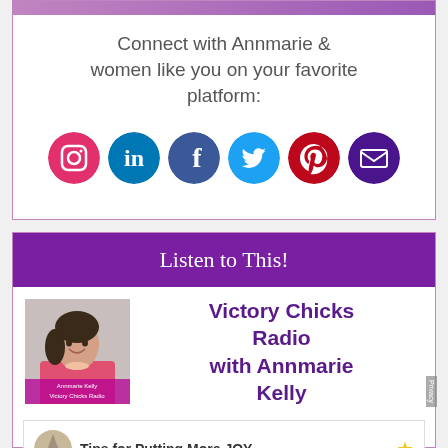Connect with Annmarie & women like you on your favorite platform:
[Figure (infographic): Six social media icons in colored circles: Instagram (red/pink), LinkedIn (blue), Facebook (dark blue), Twitter (light blue), Pinterest (red), Email (dark purple)]
Listen to This!
[Figure (photo): Photo of Annmarie Kelly with Victory Chicks Radio branding overlay]
Victory Chicks Radio with Annmarie Kelly
Tips for Putting More JOY